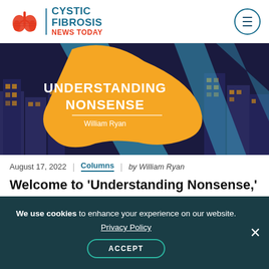Cystic Fibrosis News Today
[Figure (illustration): Header banner illustration for 'Understanding Nonsense' column by William Ryan. Orange blob/arrow shape overlaid on a purple city skyline with blue diagonal stripes. White bold text reads 'UNDERSTANDING NONSENSE' with 'William Ryan' below in white italic.]
August 17, 2022 | Columns | by William Ryan
Welcome to 'Understanding Nonsense,' About My Life With CF
We use cookies to enhance your experience on our website. Privacy Policy ACCEPT